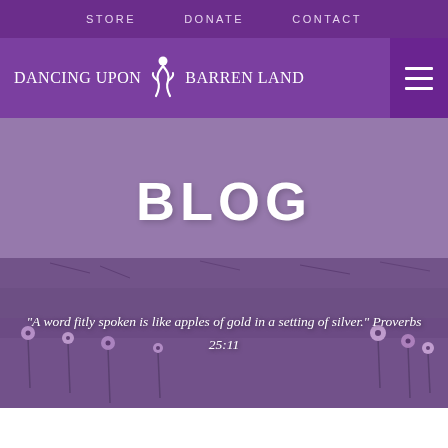STORE   DONATE   CONTACT
[Figure (logo): Dancing Upon Barren Land logo with white dancer silhouette and site name]
BLOG
"A word fitly spoken is like apples of gold in a setting of silver." Proverbs 25:11